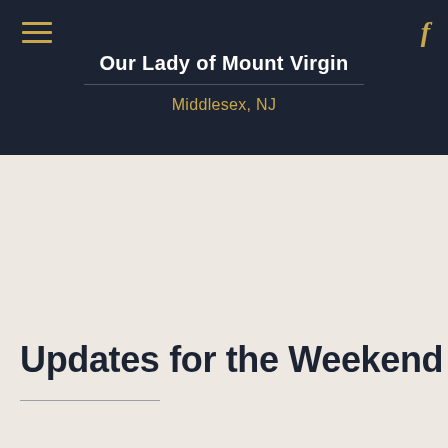Our Lady of Mount Virgin — Middlesex, NJ
Updates for the Weekend of J
Home
July 16, 2021